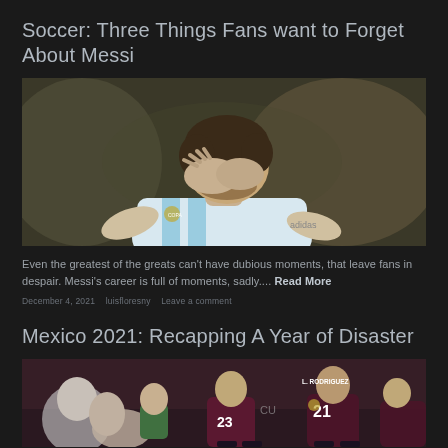Soccer: Three Things Fans want to Forget About Messi
[Figure (photo): Photo of Lionel Messi in Argentina national team jersey with his face buried in his hands, looking downward in distress]
Even the greatest of the greats can't have dubious moments, that leave fans in despair. Messi's career is full of moments, sadly.... Read More
December 4, 2021  luisfloresny  Leave a comment
Mexico 2021: Recapping A Year of Disaster
[Figure (photo): Photo of Mexico national soccer team players in dark maroon jerseys, with player number 23 and L. Rodriguez number 21 visible, standing on the field]